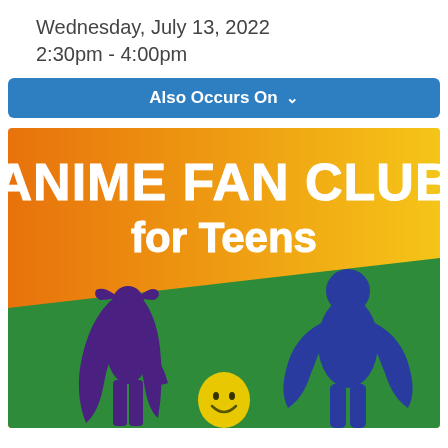Wednesday, July 13, 2022
2:30pm - 4:00pm
Also Occurs On
[Figure (illustration): Anime Fan Club for Teens event poster with anime character silhouettes on an orange-to-yellow gradient background with a green diagonal section. Text reads 'ANIME FAN CLUB for Teens'. Purple silhouette of a tall female character with twintails on the left, a yellow round chibi character in the center, and a blue silhouette of an armored character on the right.]